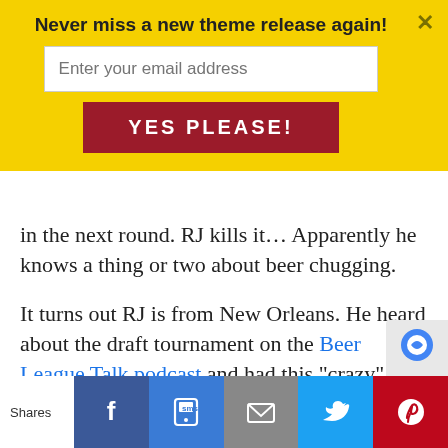Never miss a new theme release again!
Enter your email address
YES PLEASE!
in the next round. RJ kills it… Apparently he knows a thing or two about beer chugging.
It turns out RJ is from New Orleans. He heard about the draft tournament on the Beer League Talk podcast and had this “crazy” plan that he would lose weight and start playing hockey. It’s not the easiest path chosen, and in his own words, there are a hundred sports he probably should have taken up because of where he lives. The nearest rink is roughly an hour and a half away and there is very little support in terms of what they offer for hockey
Shares